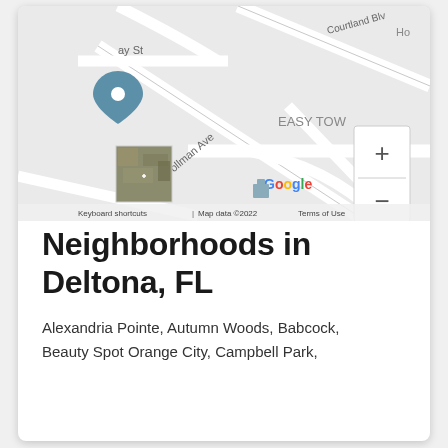[Figure (map): Google Maps screenshot showing street map of Deltona, FL area with roads including Trollman Ave, Courtland Blvd, and Easy Town area. Shows a location pin marker, a satellite thumbnail, zoom controls (+/-), Google logo, and footer text: Keyboard shortcuts | Map data ©2022 Terms of Use]
Neighborhoods in Deltona, FL
Alexandria Pointe, Autumn Woods, Babcock, Beauty Spot Orange City, Campbell Park,